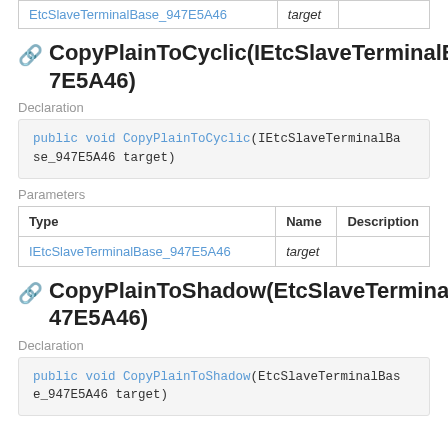| Type | Name | Description |
| --- | --- | --- |
| EtcSlaveTerminalBase_947E5A46 | target |  |
CopyPlainToCyclic(IEtcSlaveTerminalBase_947E5A46)
Declaration
public void CopyPlainToCyclic(IEtcSlaveTerminalBase_947E5A46 target)
Parameters
| Type | Name | Description |
| --- | --- | --- |
| IEtcSlaveTerminalBase_947E5A46 | target |  |
CopyPlainToShadow(EtcSlaveTerminalBase_947E5A46)
Declaration
public void CopyPlainToShadow(EtcSlaveTerminalBase_947E5A46 target)